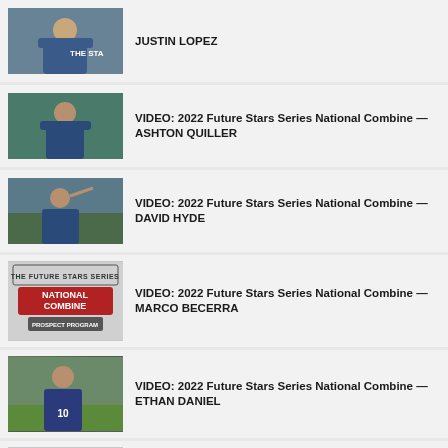JUSTIN LOPEZ
VIDEO: 2022 Future Stars Series National Combine — ASHTON QUILLER
VIDEO: 2022 Future Stars Series National Combine — DAVID HYDE
VIDEO: 2022 Future Stars Series National Combine — MARCO BECERRA
VIDEO: 2022 Future Stars Series National Combine — ETHAN DANIEL
VIDEO: 2022 Future Stars Series National Combine — TYLER WONG